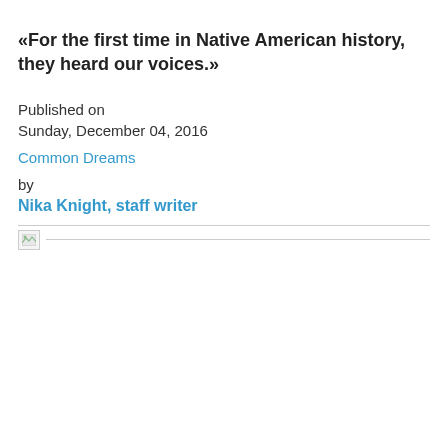«For the first time in Native American history, they heard our voices.»
Published on
Sunday, December 04, 2016
Common Dreams
by
Nika Knight, staff writer
[Figure (other): Broken image placeholder with horizontal rule]